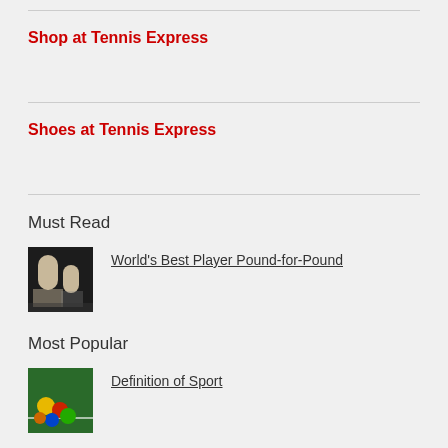Shop at Tennis Express
Shoes at Tennis Express
Must Read
[Figure (photo): Black and white photo of two people at a tennis court]
World's Best Player Pound-for-Pound
Most Popular
[Figure (photo): Colorful tennis balls on a green court surface]
Definition of Sport